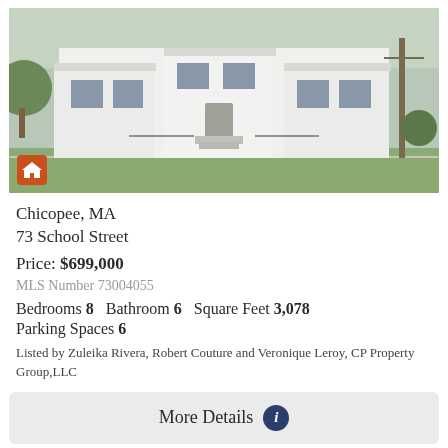[Figure (photo): Exterior photo of a white two-story multi-family house with front stairs, windows, and a utility pole on the right side. Orange house icon in bottom-left corner.]
Chicopee, MA
73 School Street
Price: $699,000
MLS Number 73004055
Bedrooms 8   Bathroom 6   Square Feet 3,078
Parking Spaces 6
Listed by Zuleika Rivera, Robert Couture and Veronique Leroy, CP Property Group,LLC
More Details
[Figure (photo): Partial photo of another property showing tree foliage with sky in background. Heart/favorite icon in bottom-right corner.]